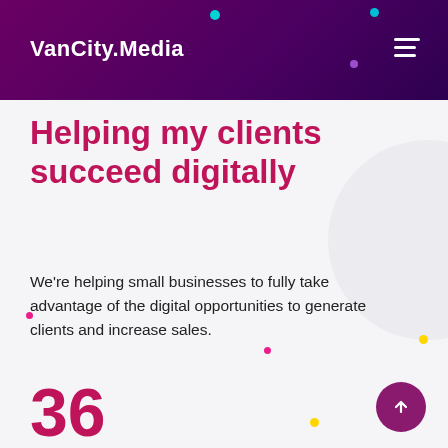VanCity.Media
Helping my clients succeed digitally
We're helping small businesses to fully take advantage of the digital opportunities to generate clients and increase sales.
36
CLIENTS